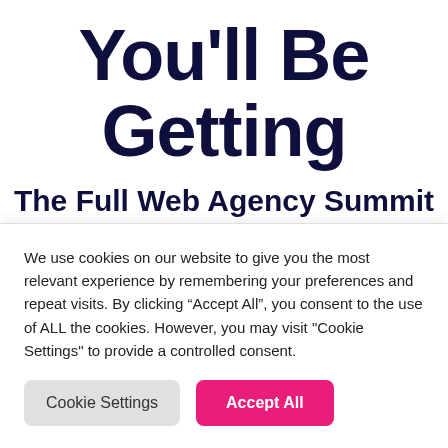You'll Be Getting
The Full Web Agency Summit All Access Pass
We use cookies on our website to give you the most relevant experience by remembering your preferences and repeat visits. By clicking “Accept All”, you consent to the use of ALL the cookies. However, you may visit "Cookie Settings" to provide a controlled consent.
Cookie Settings | Accept All